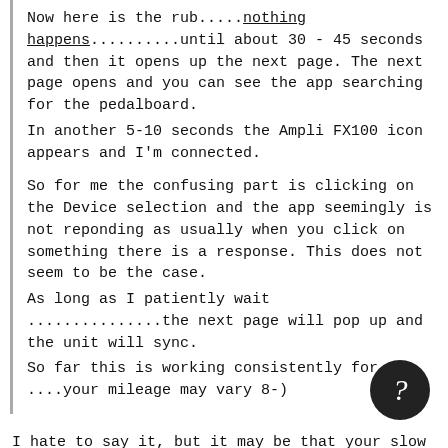Now here is the rub.....nothing happens..........until about 30 - 45 seconds and then it opens up the next page. The next page opens and you can see the app searching for the pedalboard. In another 5-10 seconds the Ampli FX100 icon appears and I'm connected.

So for me the confusing part is clicking on the Device selection and the app seemingly is not reponding as usually when you click on something there is a response. This does not seem to be the case. As long as I patiently wait ...............the next page will pop up and the unit will sync. So far this is working consistently for me ....your mileage may vary 8-)
I hate to say it, but it may be that your slow respond times are due to the iPhone 4 being a bit underpowered for the software. I know it says it is compatible, and it does work, but I am guessing you would see faster response with a newer iPhone or iPad.